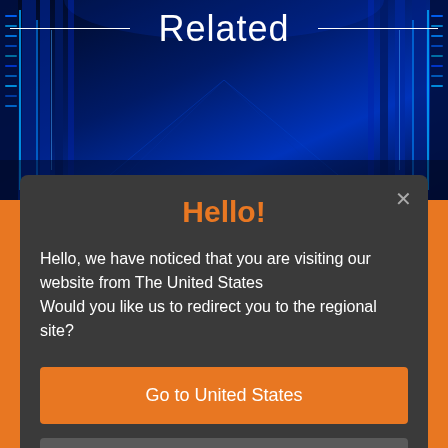[Figure (photo): Blue data center server rack corridor background image]
Related
[Figure (screenshot): Modal dialog popup with dark background showing geo-redirect options]
Hello!
Hello, we have noticed that you are visiting our website from The United States
Would you like us to redirect you to the regional site?
Go to United States
Stay
Browse Global Sites
Open Listings (1)